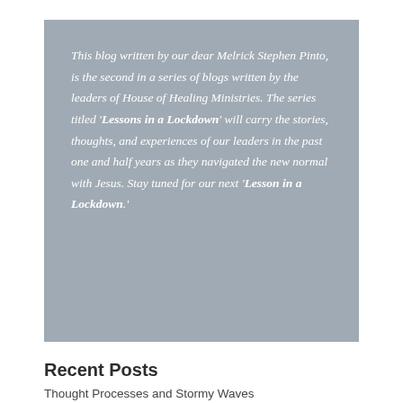This blog written by our dear Melrick Stephen Pinto, is the second in a series of blogs written by the leaders of House of Healing Ministries. The series titled 'Lessons in a Lockdown' will carry the stories, thoughts, and experiences of our leaders in the past one and half years as they navigated the new normal with Jesus. Stay tuned for our next 'Lesson in a Lockdown.'
Recent Posts
Thought Processes and Stormy Waves